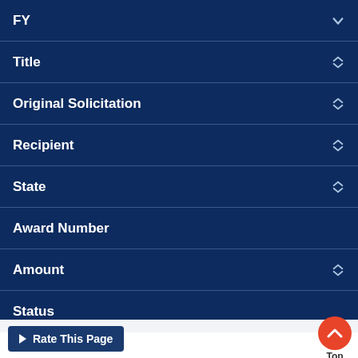FY
Title
Original Solicitation
Recipient
State
Award Number
Amount
Status
$633,988
Rate This Page
Top